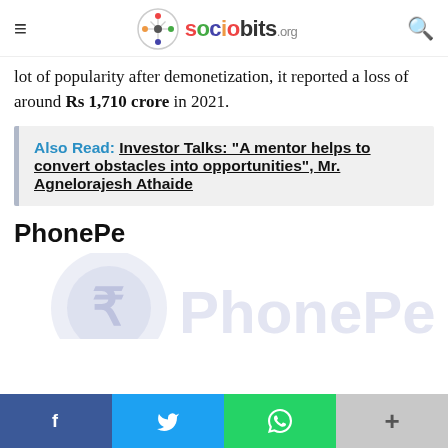sociobits.org
lot of popularity after demonetization, it reported a loss of around Rs 1,710 crore in 2021.
Also Read: Investor Talks: "A mentor helps to convert obstacles into opportunities", Mr. Agnelorajesh Athaide
PhonePe
[Figure (logo): PhonePe logo watermark — circular icon with rupee symbol and PhonePe wordmark in light purple/lavender]
f  (twitter bird)  (whatsapp)  +